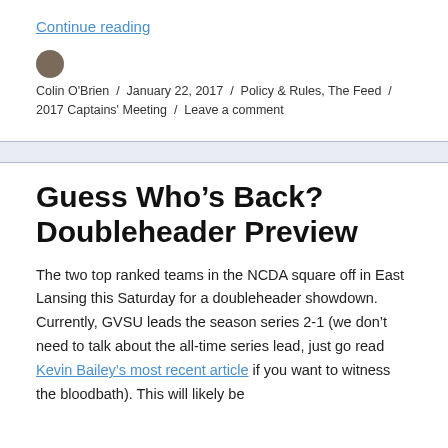Continue reading
Colin O'Brien / January 22, 2017 / Policy & Rules, The Feed / 2017 Captains' Meeting / Leave a comment
Guess Who's Back? Doubleheader Preview
The two top ranked teams in the NCDA square off in East Lansing this Saturday for a doubleheader showdown. Currently, GVSU leads the season series 2-1 (we don't need to talk about the all-time series lead, just go read Kevin Bailey's most recent article if you want to witness the bloodbath). This will likely be